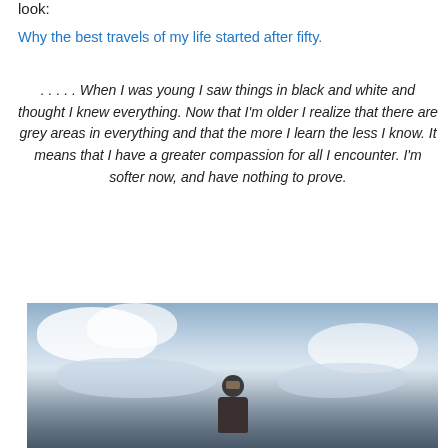look:
Why the best travels of my life started after fifty.
. . . . . When I was young I saw things in black and white and thought I knew everything. Now that I'm older I realize that there are grey areas in everything and that the more I learn the less I know. It means that I have a greater compassion for all I encounter. I'm softer now, and have nothing to prove.
[Figure (photo): Person wearing a black beanie and sunglasses standing outdoors against a dramatic cloudy sky background.]